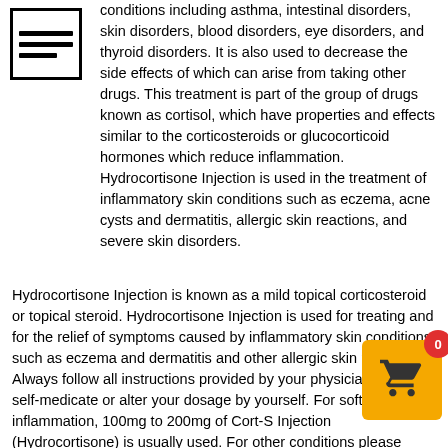[Figure (logo): Document/menu icon with horizontal lines inside a square border]
conditions including asthma, intestinal disorders, skin disorders, blood disorders, eye disorders, and thyroid disorders. It is also used to decrease the side effects of which can arise from taking other drugs. This treatment is part of the group of drugs known as cortisol, which have properties and effects similar to the corticosteroids or glucocorticoid hormones which reduce inflammation. Hydrocortisone Injection is used in the treatment of inflammatory skin conditions such as eczema, acne cysts and dermatitis, allergic skin reactions, and severe skin disorders.
Hydrocortisone Injection is known as a mild topical corticosteroid or topical steroid. Hydrocortisone Injection is used for treating and for the relief of symptoms caused by inflammatory skin conditions such as eczema and dermatitis and other allergic skin reactions. Always follow all instructions provided by your physician. Never self-medicate or alter your dosage by yourself. For soft tissue inflammation, 100mg to 200mg of Cort-S Injection (Hydrocortisone) is usually used. For other conditions please consult your physician. This treatment is usually administered by your physician, dermatologist.